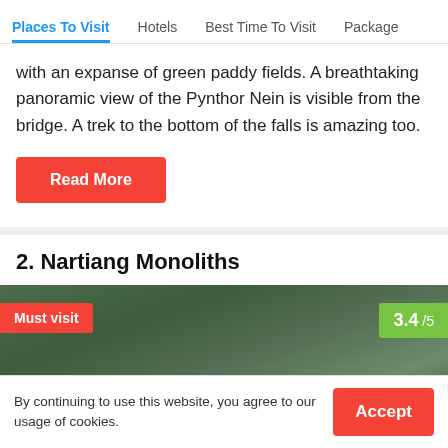Places To Visit | Hotels | Best Time To Visit | Package
with an expanse of green paddy fields. A breathtaking panoramic view of the Pynthor Nein is visible from the bridge. A trek to the bottom of the falls is amazing too.
Read More
2. Nartiang Monoliths
[Figure (photo): Photo of Nartiang Monoliths area showing dense trees with 'Must visit' badge on left and '3.4/5' rating badge on right]
By continuing to use this website, you agree to our usage of cookies.
Accept